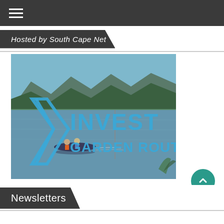≡ (navigation menu)
Hosted by South Cape Net
[Figure (photo): Invest Garden Route promotional image showing two people kayaking on a calm lake with forested mountains in the background. A large blue logo text reads 'INVEST GARDEN ROUTE' overlaid on the top half of the image.]
Newsletters